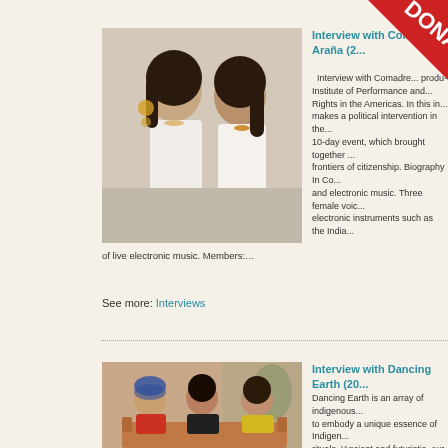[Figure (photo): Two women seated, wearing white tops and jewelry]
Interview with Comadre Araña (2...)
Interview with Comadre... produced by the Institute of Performance and... Rights in the Americas. In this interview, makes a political intervention in the... 10-day event, which brought together... frontiers of citizenship. Biography In Co... and electronic music. Three female voices... electronic instruments such as the India... of live electronic music. Members:...
See more: Interviews
[Figure (photo): Three people seated on a couch: man in red shirt, woman in black, young person in yellow top]
Interview with Dancing Earth (20...)
Dancing Earth is an array of indigenous... to embody a unique essence of Indigen... rituals. 'Ancient and futuristic, our dance... individual artistry on behalf of empowerm... experimentation. Through movement, w... collaborators in the fields of music, mas... this interview, conducted by Tina Maik...